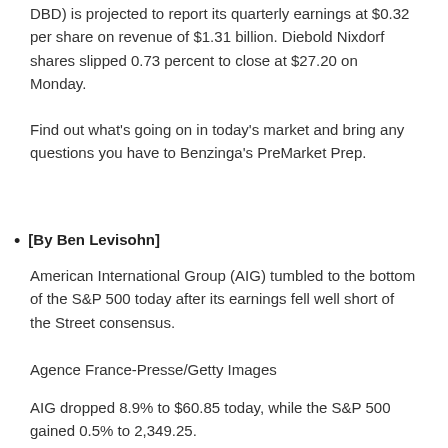DBD) is projected to report its quarterly earnings at $0.32 per share on revenue of $1.31 billion. Diebold Nixdorf shares slipped 0.73 percent to close at $27.20 on Monday.
Find out what's going on in today's market and bring any questions you have to Benzinga's PreMarket Prep.
[By Ben Levisohn]
American International Group (AIG) tumbled to the bottom of the S&P 500 today after its earnings fell well short of the Street consensus.
Agence France-Presse/Getty Images
AIG dropped 8.9% to $60.85 today, while the S&P 500 gained 0.5% to 2,349.25.